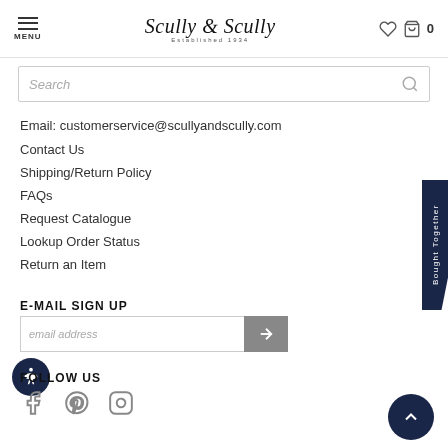MENU | Scully & Scully | Established 1934 | ♡ | 🛍 0
[Figure (screenshot): Search bar with italic placeholder text 'Search' and a magnifying glass icon on the right]
Email: customerservice@scullyandscully.com
Contact Us
Shipping/Return Policy
FAQs
Request Catalogue
Lookup Order Status
Return an Item
E-MAIL SIGN UP
[Figure (screenshot): Email address input field with italic placeholder 'email address' and a grey arrow submit button]
FOLLOW US
[Figure (screenshot): Social media icons: Facebook, Pinterest, Instagram]